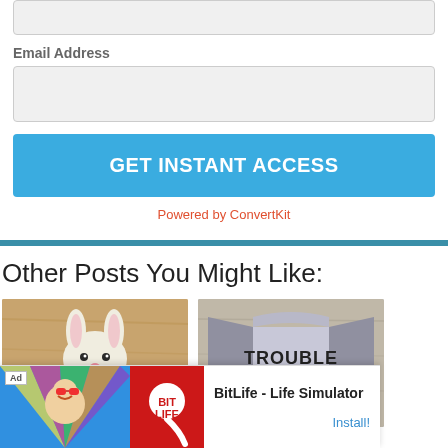Email Address
GET INSTANT ACCESS
Powered by ConvertKit
Other Posts You Might Like:
[Figure (photo): Stuffed bunny toy on wooden surface]
[Figure (photo): Gray raglan t-shirt with TROUBLE text]
[Figure (screenshot): Ad banner for BitLife - Life Simulator app with Install button]